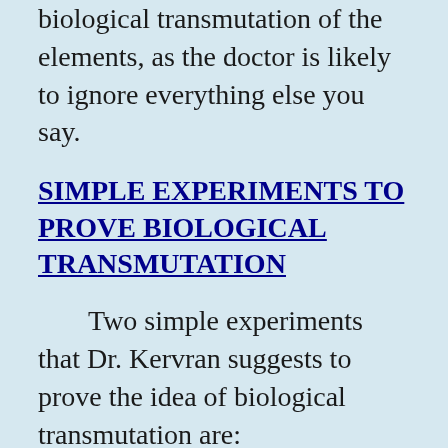biological transmutation of the elements, as the doctor is likely to ignore everything else you say.
SIMPLE EXPERIMENTS TO PROVE BIOLOGICAL TRANSMUTATION
Two simple experiments that Dr. Kervran suggests to prove the idea of biological transmutation are:
1. Female chickens eat very little calcium, in general.  Yet they produce a rather large egg shell made